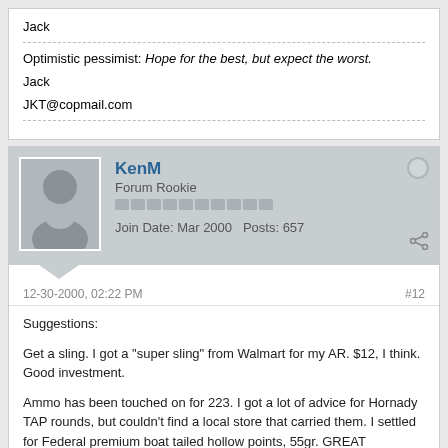Jack
Optimistic pessimist: Hope for the best, but expect the worst.
Jack
JKT@copmail.com
KenM
Forum Rookie
Join Date: Mar 2000   Posts: 657
12-30-2000, 02:22 PM
#12
Suggestions:

Get a sling. I got a "super sling" from Walmart for my AR. $12, I think. Good investment.

Ammo has been touched on for 223. I got a lot of advice for Hornady TAP rounds, but couldn't find a local store that carried them. I settled for Federal premium boat tailed hollow points, 55gr. GREAT expansion, no chance (I hate to say that) of passing through a target and capping some innocent.